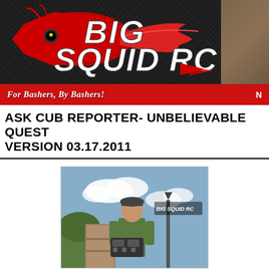[Figure (logo): Big Squid RC website header banner with logo, squid illustration, carbon fiber background, and red tagline bar reading 'For Bashers, By Bashers!']
ASK CUB REPORTER- UNBELIEVABLE QUESTIONS VERSION 03.17.2011
[Figure (photo): Person in green t-shirt standing outdoors holding an RC car transmitter, with a Big Squid RC logo watermark overlay]
While digging around my closet I came acros